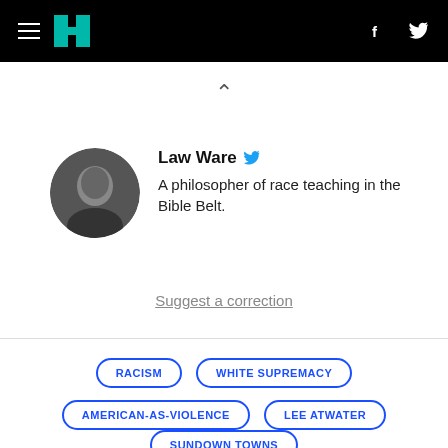HuffPost navigation bar with hamburger menu, logo, Facebook and Twitter icons
^
Law Ware
A philosopher of race teaching in the Bible Belt.
Suggest a correction
RACISM
WHITE SUPREMACY
AMERICAN-AS-VIOLENCE
LEE ATWATER
SUNDOWN TOWNS